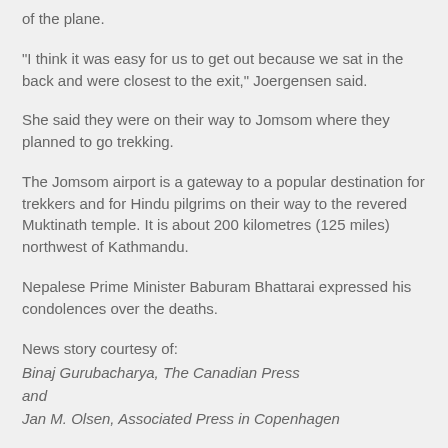of the plane.
"I think it was easy for us to get out because we sat in the back and were closest to the exit," Joergensen said.
She said they were on their way to Jomsom where they planned to go trekking.
The Jomsom airport is a gateway to a popular destination for trekkers and for Hindu pilgrims on their way to the revered Muktinath temple. It is about 200 kilometres (125 miles) northwest of Kathmandu.
Nepalese Prime Minister Baburam Bhattarai expressed his condolences over the deaths.
News story courtesy of:
Binaj Gurubacharya, The Canadian Press
and
Jan M. Olsen, Associated Press in Copenhagen